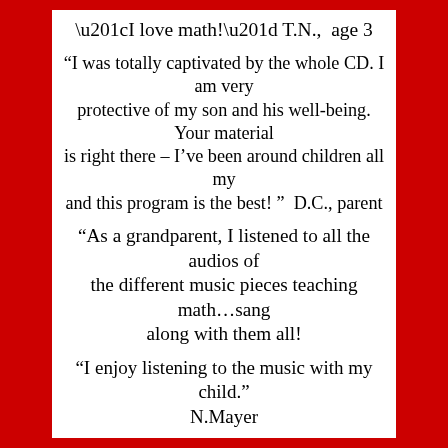“I love math!” T.N.,  age 3
“I was totally captivated by the whole CD. I am very protective of my son and his well-being. Your material is right there – I’ve been around children all my and this program is the best! ”  D.C., parent
“As a grandparent, I listened to all the audios of the different music pieces teaching math…sang along with them all!
“I enjoy listening to the music with my child.” N.Mayer
“Loved the success stories by the children in regards to their math and Art!  We YOUNG at Heart can relate to all of this and it keeps our